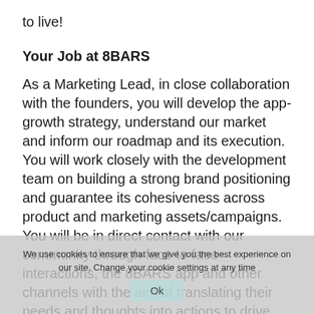to live!
Your Job at 8BARS
As a Marketing Lead, in close collaboration with the founders, you will develop the app-growth strategy, understand our market and inform our roadmap and its execution. You will work closely with the development team on building a strong brand positioning and guarantee its cohesiveness across product and marketing assets/campaigns. You will be in direct contact with our community through face to face interactions, the 8BARS app and other channels with the aim of translating their needs and thoughts into actions to drive growth.